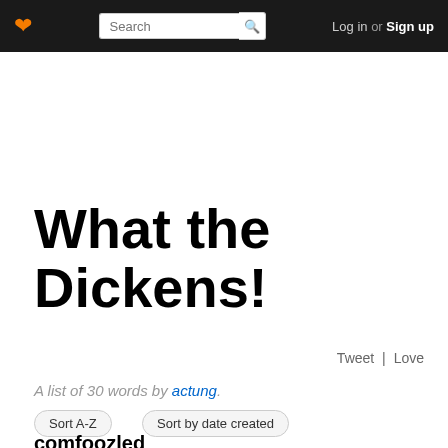❤ Search Log in or Sign up
What the Dickens!
Tweet | Love
A list of 30 words by actung.
Sort A-Z
Sort by date created
comfoozled